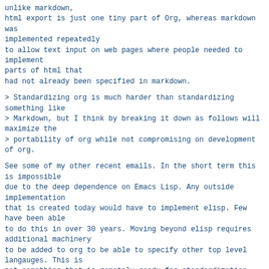unlike markdown,
html export is just one tiny part of Org, whereas markdown was
implemented repeatedly
to allow text input on web pages where people needed to implement
parts of html that
had not already been specified in markdown.
> Standardizing org is much harder than standardizing something like
> Markdown, but I think by breaking it down as follows will maximize the
> portability of org while not compromising on development of org.
See some of my other recent emails. In the short term this is impossible
due to the deep dependence on Emacs Lisp. Any outside implementation
that is created today would have to implement elisp. Few have been able
to do this in over 30 years. Moving beyond elisp requires additional machinery
to be added to org to be able to specify other top level langauges. This is
not something that is remotely ready for standardization because no one
even has a single working implementation yet!